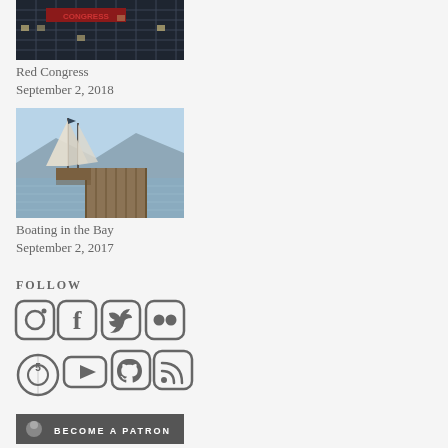[Figure (photo): Red Congress building photo - dark building with red signage]
Red Congress
September 2, 2018
[Figure (photo): Boating in the Bay - sailboat with large sails near a pier on the water]
Boating in the Bay
September 2, 2017
FOLLOW
[Figure (infographic): Social media icons row 1: Instagram, Facebook, Twitter, Flickr]
[Figure (infographic): Social media icons row 2: 500px, YouTube, GitHub, RSS]
[Figure (infographic): Become a Patron button bar]